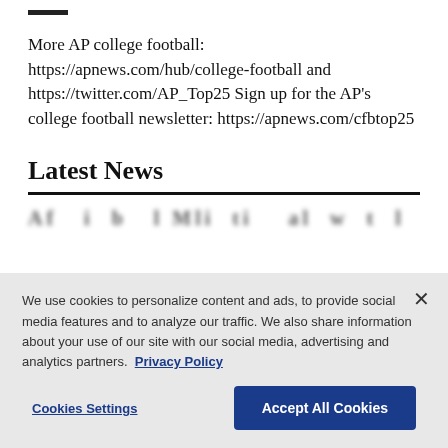More AP college football: https://apnews.com/hub/college-football and https://twitter.com/AP_Top25 Sign up for the AP's college football newsletter: https://apnews.com/cfbtop25
Latest News
We use cookies to personalize content and ads, to provide social media features and to analyze our traffic. We also share information about your use of our site with our social media, advertising and analytics partners. Privacy Policy
Cookies Settings   Accept All Cookies